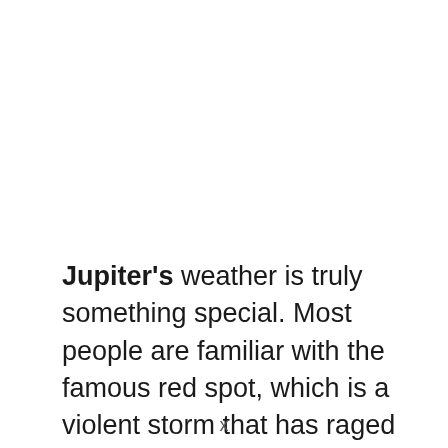Jupiter's weather is truly something special. Most people are familiar with the famous red spot, which is a violent storm that has raged on Jupiter for an estimated 180 - 300 years. With many flybys of Jupiter, scientists have been able to explore the